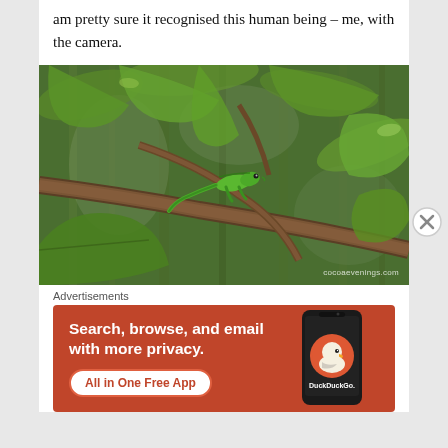am pretty sure it recognised this human being – me, with the camera.
[Figure (photo): A green lizard (gecko/anole) camouflaged among green leaves and brown branches in a tropical setting. Watermark reads cocoaevenings.com]
Advertisements
[Figure (infographic): DuckDuckGo advertisement banner on orange/red background. Text: 'Search, browse, and email with more privacy. All in One Free App'. Shows a smartphone with DuckDuckGo logo and duck mascot.]